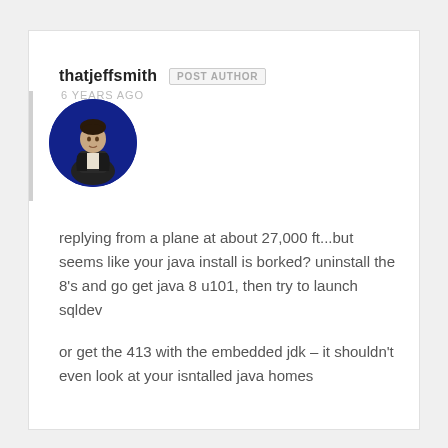thatjeffsmith  POST AUTHOR
6 YEARS AGO
[Figure (photo): Circular avatar photo of a person sitting, wearing dark jacket, blue background]
replying from a plane at about 27,000 ft...but seems like your java install is borked? uninstall the 8's and go get java 8 u101, then try to launch sqldev
or get the 413 with the embedded jdk – it shouldn't even look at your isntalled java homes